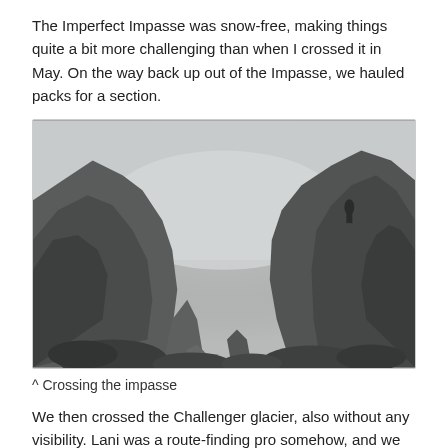The Imperfect Impasse was snow-free, making things quite a bit more challenging than when I crossed it in May. On the way back up out of the Impasse, we hauled packs for a section.
[Figure (photo): A misty, foggy mountain pass with steep rocky walls on either side, viewed from below looking up through the narrow passage. Rocks and boulders fill the foreground. A figure can faintly be seen on the right side ridge. The scene is heavily overcast and grey.]
^ Crossing the impasse
We then crossed the Challenger glacier, also without any visibility. Lani was a route-finding pro somehow, and we didn't dead-end on any crevasses. Arriving at Challenger arm, the clouds cleared and we got our